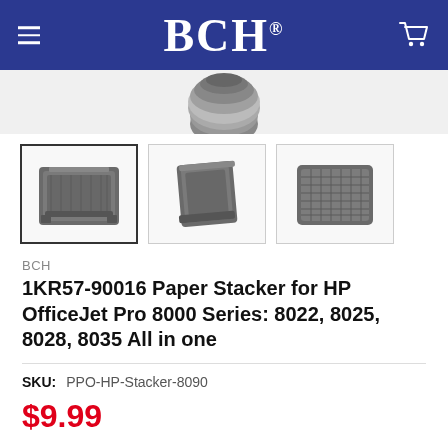BCH®
[Figure (photo): BCH brand product page showing a paper stacker device. Three thumbnail images of the 1KR57-90016 Paper Stacker from different angles.]
BCH
1KR57-90016 Paper Stacker for HP OfficeJet Pro 8000 Series: 8022, 8025, 8028, 8035 All in one
SKU:   PPO-HP-Stacker-8090
$9.99